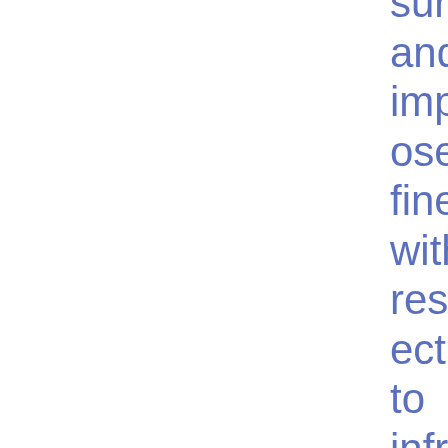sure and impose fines with respect to infringements by Moody's Deutschland GmbH and Moody's